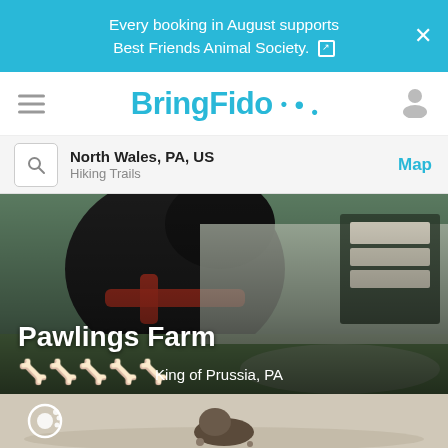Every booking in August supports Best Friends Animal Society. [external link]
[Figure (logo): BringFido logo with hamburger menu and user icon]
North Wales, PA, US
Hiking Trails
Map
[Figure (photo): Black dog in red harness viewed from behind, looking at an information board outdoors. Text overlay: Pawlings Farm, King of Prussia, PA with 5 bone rating icons]
[Figure (photo): Small dog on sandy/light ground, partial view, with BringFido logo watermark]